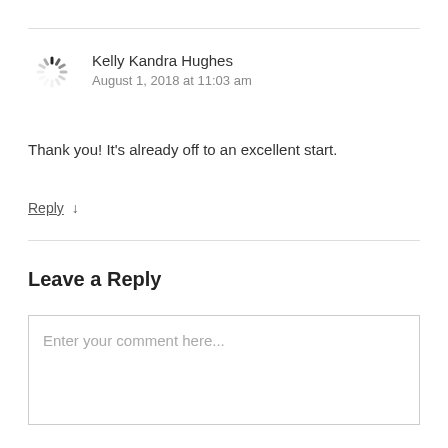[Figure (illustration): Loading spinner icon (circular dashed loading animation) used as avatar placeholder]
Kelly Kandra Hughes
August 1, 2018 at 11:03 am
Thank you! It's already off to an excellent start.
Reply ↓
Leave a Reply
Enter your comment here...